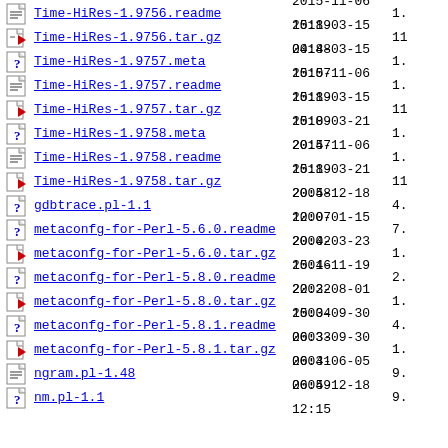Time-HiRes-1.9756.readme  2015-11-06 15:19  1.
Time-HiRes-1.9756.tar.gz  2018-03-15 04:48  11
Time-HiRes-1.9757.meta   2018-03-15 15:07  1.
Time-HiRes-1.9757.readme  2015-11-06 15:19  1.
Time-HiRes-1.9757.tar.gz  2018-03-15 15:09  11
Time-HiRes-1.9758.meta   2018-03-21 20:47  1.
Time-HiRes-1.9758.readme  2015-11-06 15:19  1.
Time-HiRes-1.9758.tar.gz  2018-03-21 20:48  11
gdbtrace.pl-1.1           2005-12-18 12:07  4.
metaconfg-for-Perl-5.6.0.readme 2000-01-15 20:42  7.
metaconfg-for-Perl-5.6.0.tar.gz 2000-03-23 15:46  1.
metaconfg-for-Perl-5.8.0.readme 2001-11-19 22:32  2.
metaconfg-for-Perl-5.8.0.tar.gz 2002-08-01 15:04  1.
metaconfg-for-Perl-5.8.1.readme 2003-09-30 06:33  4.
metaconfg-for-Perl-5.8.1.tar.gz 2003-09-30 06:41  1.
ngram.pl-1.48             2003-06-05 06:49  9.
nm.pl-1.1                 2005-12-18 12:15  9.